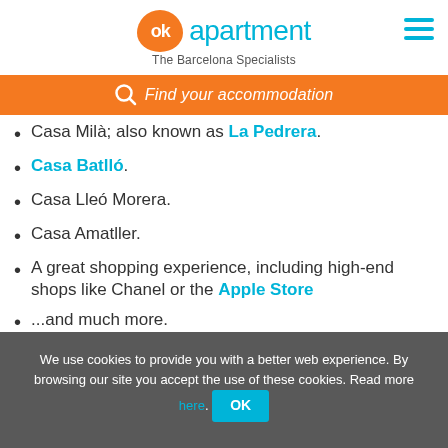ok apartment – The Barcelona Specialists
Find your accommodation
Casa Milà; also known as La Pedrera.
Casa Batlló.
Casa Lleó Morera.
Casa Amatller.
A great shopping experience, including high-end shops like Chanel or the Apple Store
...and much more.
We use cookies to provide you with a better web experience. By browsing our site you accept the use of these cookies. Read more here. OK